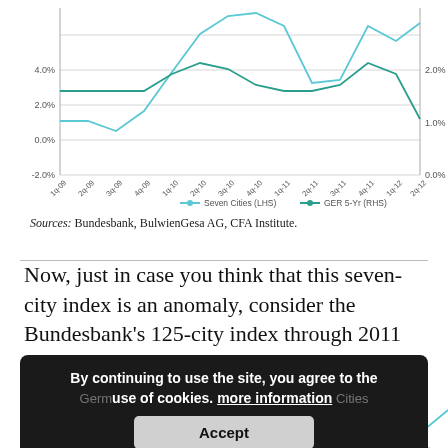[Figure (line-chart): Dual-axis line chart showing Seven Cities (LHS) and GER 5-Yr (RHS) from 1q-09 to 2q-12. Left axis ranges -2% to 4%+, right axis 0% to 2%+.]
Sources: Bundesbank, BulwienGesa AG, CFA Institute.
Now, just in case you think that this seven-city index is an anomaly, consider the Bundesbank’s 125-city index through 2011 (the data are annual figures through December 2011).
[Figure (other): Cookie consent banner overlay: 'By continuing to use the site, you agree to the use of cookies. more information' with Accept button. Behind it partially visible text: 'German Residential Real Estate: 125 Cities']
[Figure (line-chart): Bottom portion of a chart partially visible, showing y-axis label 5.0% and a rising line, truncated by page bottom.]